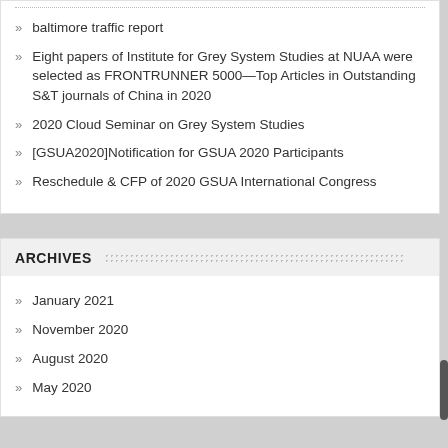baltimore traffic report
Eight papers of Institute for Grey System Studies at NUAA were selected as FRONTRUNNER 5000—Top Articles in Outstanding S&T journals of China in 2020
2020 Cloud Seminar on Grey System Studies
[GSUA2020]Notification for GSUA 2020 Participants
Reschedule & CFP of 2020 GSUA International Congress
ARCHIVES
January 2021
November 2020
August 2020
May 2020